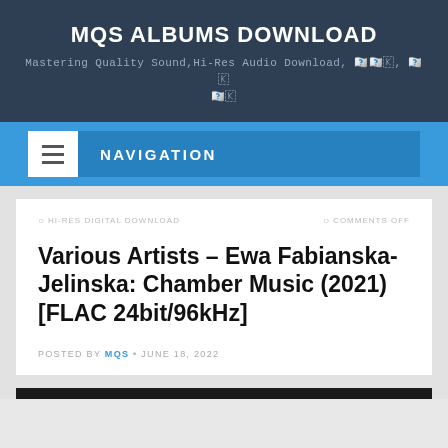MQS ALBUMS DOWNLOAD
Mastering Quality Sound,Hi-Res Audio Download, 무손실, 하이 레스
[Figure (infographic): Navigation bar with hamburger menu icon and NAVIGATION label on blue background]
HI-RES DIGITAL DOWNLOAD
COMMENTS OFF
Various Artists – Ewa Fabianska-Jelinska: Chamber Music (2021) [FLAC 24bit/96kHz]
POSTED BY MQS · JUNE 18, 2022